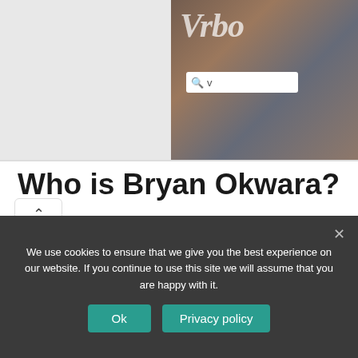[Figure (screenshot): Vrbo website screenshot showing logo text and search bar with people in background]
[Figure (photo): Two side-by-side photos: left showing a person packing or handling items with colorful background, right showing hands on a pillow/suitcase]
Who is Bryan Okwara?
Bryan Okwara is a Nigerian actor, model, and brand influencer. He won the Mr Nigeria contest in 2007 and
We use cookies to ensure that we give you the best experience on our website. If you continue to use this site we will assume that you are happy with it.